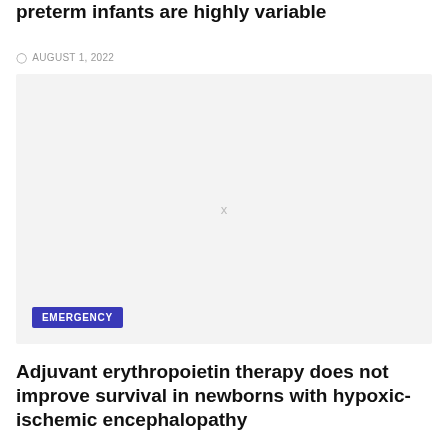preterm infants are highly variable
AUGUST 1, 2022
[Figure (photo): Placeholder image with an x in the center and an EMERGENCY badge in the lower left corner]
Adjuvant erythropoietin therapy does not improve survival in newborns with hypoxic-ischemic encephalopathy